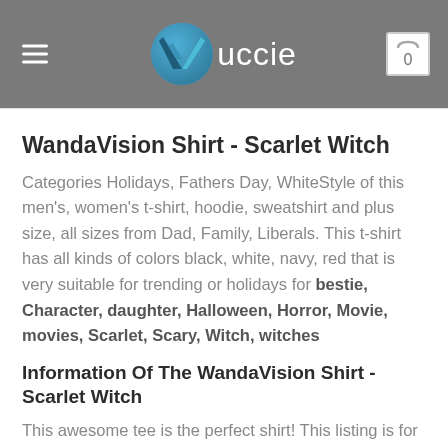Vuccie
WandaVision Shirt - Scarlet Witch
Categories Holidays, Fathers Day, WhiteStyle of this men's, women's t-shirt, hoodie, sweatshirt and plus size, all sizes from Dad, Family, Liberals. This t-shirt has all kinds of colors black, white, navy, red that is very suitable for trending or holidays for bestie, Character, daughter, Halloween, Horror, Movie, movies, Scarlet, Scary, Witch, witches
Information Of The WandaVision Shirt - Scarlet Witch
This awesome tee is the perfect shirt! This listing is for ONE item. It is made on Gildan shirts. Comfortable, relaxed fit, yet not boxy at all!!! Super